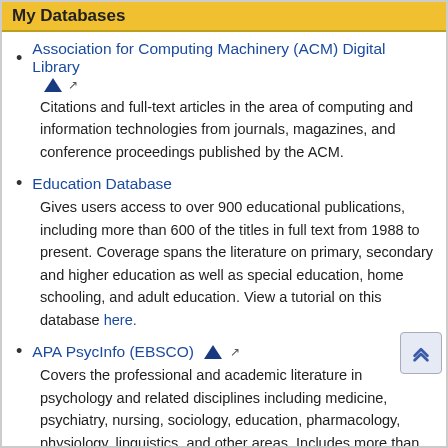My Databases
Association for Computing Machinery (ACM) Digital Library — Citations and full-text articles in the area of computing and information technologies from journals, magazines, and conference proceedings published by the ACM.
Education Database — Gives users access to over 900 educational publications, including more than 600 of the titles in full text from 1988 to present. Coverage spans the literature on primary, secondary and higher education as well as special education, home schooling, and adult education. View a tutorial on this database here.
APA PsycInfo (EBSCO) — Covers the professional and academic literature in psychology and related disciplines including medicine, psychiatry, nursing, sociology, education, pharmacology, physiology, linguistics, and other areas. Includes more than